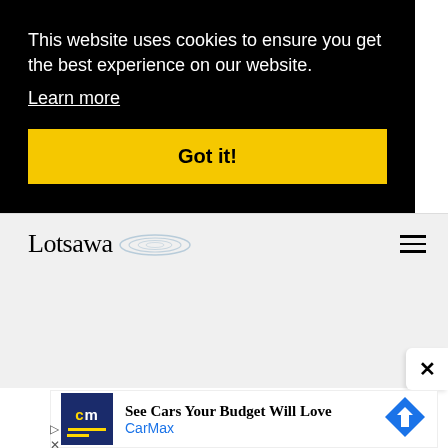This website uses cookies to ensure you get the best experience on our website.
Learn more
Got it!
[Figure (logo): Lotsawa website logo with cursive text and spiral/swirl graphic]
[Figure (other): Hamburger menu icon (three horizontal lines)]
[Figure (other): Close X button (white rounded rectangle with X)]
[Figure (other): CarMax advertisement banner with CM logo, text 'See Cars Your Budget Will Love', 'CarMax', and blue diamond arrow icon]